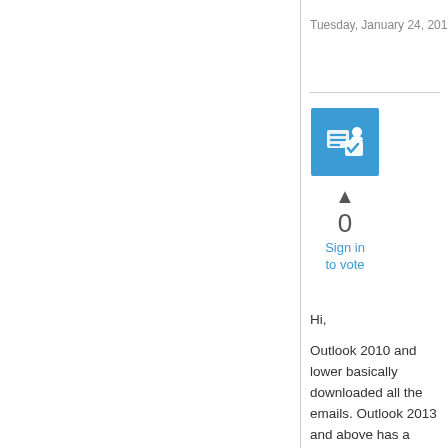Tuesday, January 24, 2017 7:59 AM
[Figure (screenshot): Blue square icon with a checkmark/ballot box symbol in white]
▲
0
Sign in to vote
Hi,
Outlook 2010 and lower basically downloaded all the emails. Outlook 2013 and above has a slider options. By default, it will download 6 months of emails. You can select all as well. Only other time which it can be an issue is if your OST is corrupted